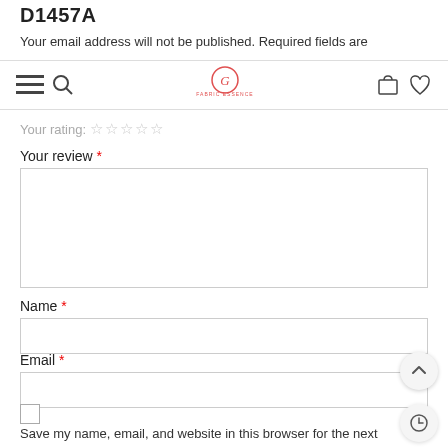D1457A
Your email address will not be published. Required fields are
[Figure (screenshot): Navigation bar with hamburger menu icon, search icon, Fabric Essence logo in red, shopping bag icon, and heart icon]
Your rating: ★ ★ ★ ★ ★
Your review *
Name *
Email *
Save my name, email, and website in this browser for the next